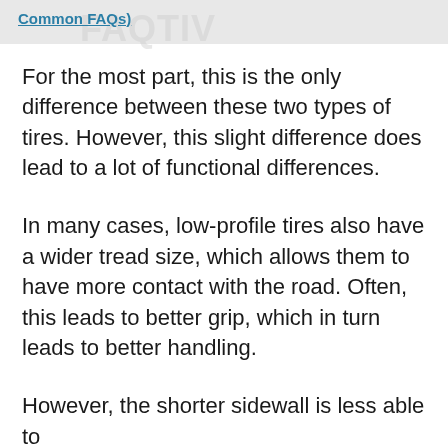Common FAQs)
For the most part, this is the only difference between these two types of tires. However, this slight difference does lead to a lot of functional differences.
In many cases, low-profile tires also have a wider tread size, which allows them to have more contact with the road. Often, this leads to better grip, which in turn leads to better handling.
However, the shorter sidewall is less able to